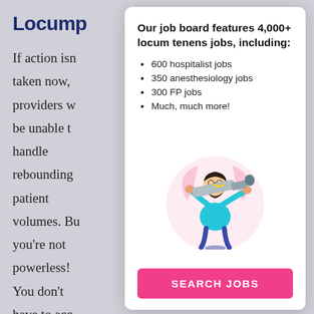Locump
If action isn't taken now, providers w be unable t handle rebounding patient volumes. Bu you're not powerless! You don't have to acc
Our job board features 4,000+ locum tenens jobs, including:
600 hospitalist jobs
350 anesthesiology jobs
300 FP jobs
Much, much more!
[Figure (illustration): Illustration of a person with a beard wearing a teal shirt, holding a large telescope/spyglass, standing in front of a circular pink and white background]
SEARCH JOBS